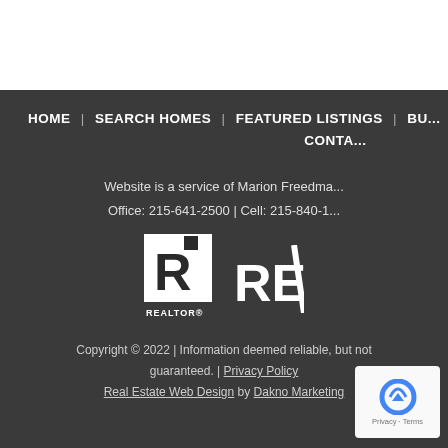HOME | SEARCH HOMES | FEATURED LISTINGS | BU... | CONTA...
Website is a service of Marion Freedma... Office: 215-641-2500 | Cell: 215-840-1...
[Figure (logo): REALTOR logo and RE/MAX logo]
Copyright © 2022 | Information deemed reliable, but not guaranteed. | Privacy Policy
Real Estate Web Design by Dakno Marketing